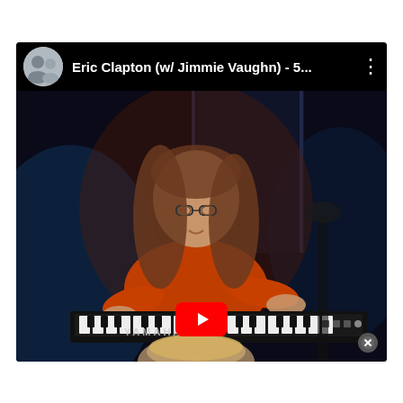[Figure (screenshot): A YouTube video player screenshot showing a concert scene. A musician with long hair wearing an orange shirt plays a Yamaha keyboard on stage. Another person is partially visible in the foreground. The video header shows a circular avatar photo and the title 'Eric Clapton (w/ Jimmie Vaughn) - 5...' with a three-dot menu icon. A red YouTube play button is visible at the bottom center. A close (X) button appears at the bottom right.]